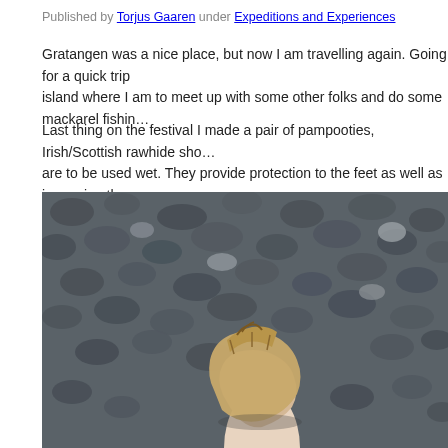Published by Torjus Gaaren under Expeditions and Experiences
Gratangen was a nice place, but now I am travelling again. Going for a quick trip to an island where I am to meet up with some other folks and do some mackarel fishin...
Last thing on the festival I made a pair of pampooties, Irish/Scottish rawhide sho... are to be used wet. They provide protection to the feet as well as improving the g...
[Figure (photo): A foot wearing a pampootie (rawhide shoe) resting on dark grey gravel/rocks on a beach. The shoe is made of pale tan/yellow rawhide gathered and tied at the toe.]